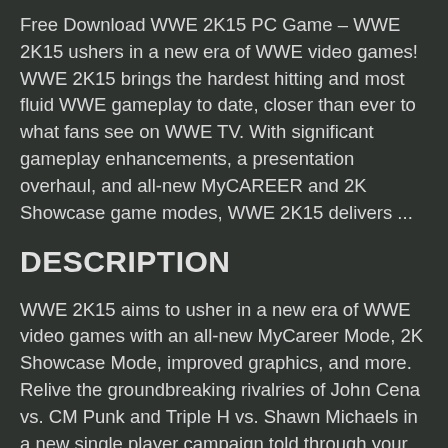Free Download WWE 2K15 PC Game – WWE 2K15 ushers in a new era of WWE video games! WWE 2K15 brings the hardest hitting and most fluid WWE gameplay to date, closer than ever to what fans see on WWE TV. With significant gameplay enhancements, a presentation overhaul, and all-new MyCAREER and 2K Showcase game modes, WWE 2K15 delivers ...
DESCRIPTION
WWE 2K15 aims to usher in a new era of WWE video games with an all-new MyCareer Mode, 2K Showcase Mode, improved graphics, and more. Relive the groundbreaking rivalries of John Cena vs. CM Punk and Triple H vs. Shawn Michaels in a new single player campaign told through your gameplay and historic WWE footage. Create your own Custom Superstar or